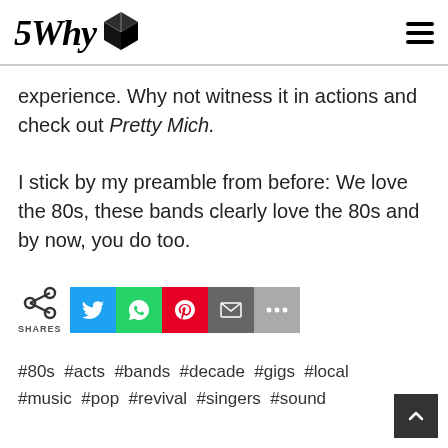5Why [logo]
experience. Why not witness it in actions and check out Pretty Mich.
I stick by my preamble from before: We love the 80s, these bands clearly love the 80s and by now, you do too.
[Figure (infographic): Share buttons row: share icon with SHARES label, then Twitter (blue), WhatsApp (green), Pinterest (red), Email (grey), More (light grey) buttons]
#80s #acts #bands #decade #gigs #local #music #pop #revival #singers #sound